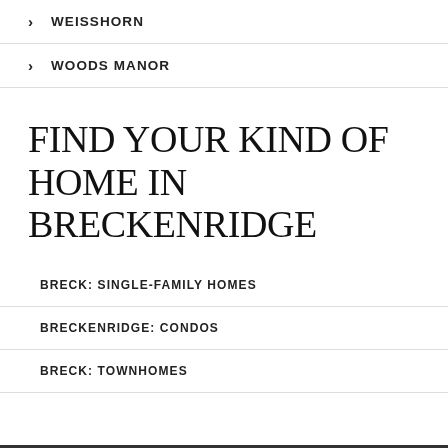WEISSHORN
WOODS MANOR
FIND YOUR KIND OF HOME IN BRECKENRIDGE
BRECK: SINGLE-FAMILY HOMES
BRECKENRIDGE: CONDOS
BRECK: TOWNHOMES